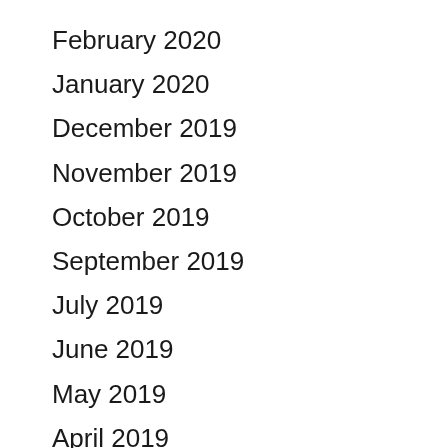February 2020
January 2020
December 2019
November 2019
October 2019
September 2019
July 2019
June 2019
May 2019
April 2019
March 2019
February 2019
January 2019
December 2018
November 2018
October 2018
September 2018
August 2018